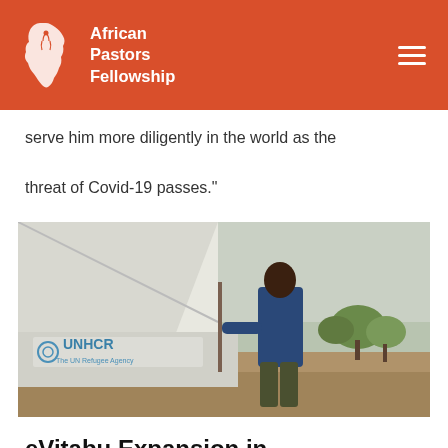African Pastors Fellowship
serve him more diligently in the world as the threat of Covid-19 passes."
[Figure (photo): A man in a blue shirt standing next to a white UNHCR tent with the text 'UNHCR The UN Refugee Agency' visible on the tent wall. Background shows dry ground and green trees under an overcast sky.]
eVitabu Expansion in Western Kenya